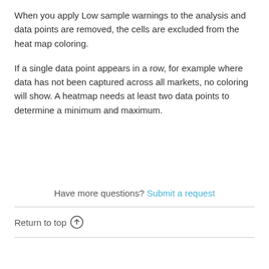When you apply Low sample warnings to the analysis and data points are removed, the cells are excluded from the heat map coloring.
If a single data point appears in a row, for example where data has not been captured across all markets, no coloring will show. A heatmap needs at least two data points to determine a minimum and maximum.
Have more questions? Submit a request
Return to top ↑